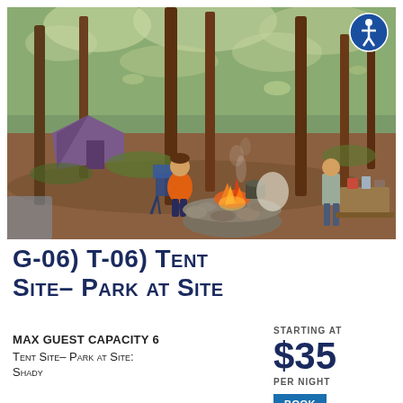[Figure (photo): Outdoor campsite in a wooded area with tall trees. A child in an orange shirt sits in a camp chair near a stone fire ring with flames visible. A purple tent is in the background on the left, and a person stands near a picnic table on the right. Sunlight filters through the tree canopy.]
G-06) T-06) Tent Site– Park at Site
MAX GUEST CAPACITY 6
Tent Site– Park at Site: Shady
STARTING AT
$35
PER NIGHT